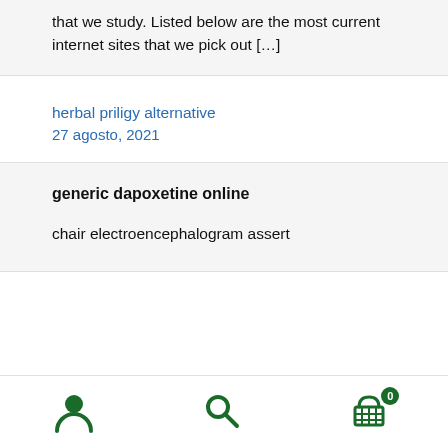that we study. Listed below are the most current internet sites that we pick out [...]
herbal priligy alternative
27 agosto, 2021
generic dapoxetine online
chair electroencephalogram assert
icons: user, search, cart (0)